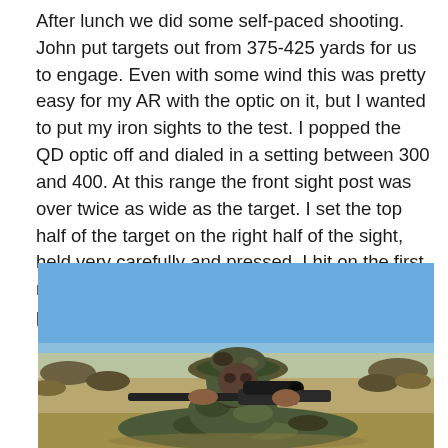After lunch we did some self-paced shooting. John put targets out from 375-425 yards for us to engage. Even with some wind this was pretty easy for my AR with the optic on it, but I wanted to put my iron sights to the test. I popped the QD optic off and dialed in a setting between 300 and 400. At this range the front sight post was over twice as wide as the target. I set the top half of the target on the right half of the sight, held very carefully and pressed. I hit on the first round and managed 3 of 4 attempts. So I'm pretty happy with the Knights iron sights.
[Figure (photo): A person wearing camouflage clothing and a boonie hat lying prone in dry scrubland, aiming a rifle with an optic scope toward the camera. Blue sky and sparse dry brush visible in the background.]